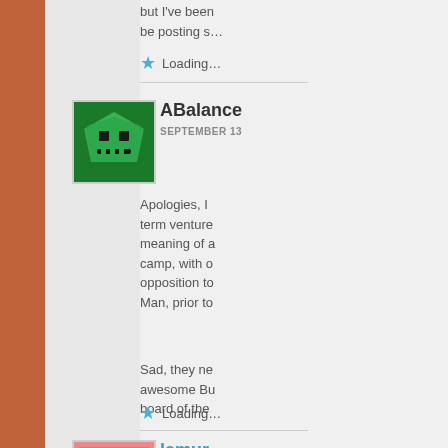but I've been be posting s…
Loading…
ABalance
SEPTEMBER 13
Apologies, I term ventures meaning of a camp, with o opposition to Man, prior to
Sad, they ne awesome Bu board of the
Loading…
lemur